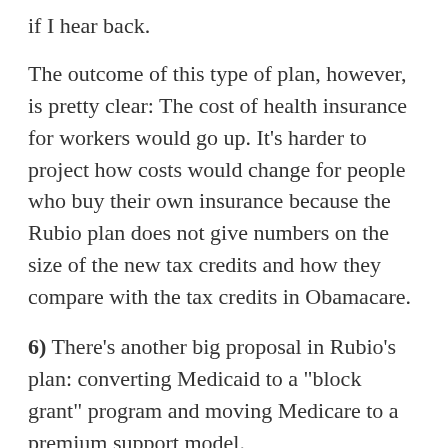if I hear back.
The outcome of this type of plan, however, is pretty clear: The cost of health insurance for workers would go up. It’s harder to project how costs would change for people who buy their own insurance because the Rubio plan does not give numbers on the size of the new tax credits and how they compare with the tax credits in Obamacare.
6) There’s another big proposal in Rubio’s plan: converting Medicaid to a “block grant” program and moving Medicare to a premium support model.
You can read more about Medicaid block grants here and premium support here. In their simplest form, turning Medicaid into a block grant program or Medicare over to premium support simply means